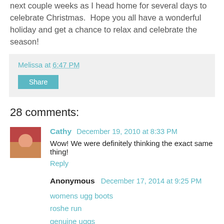next couple weeks as I head home for several days to celebrate Christmas.  Hope you all have a wonderful holiday and get a chance to relax and celebrate the season!
Melissa at 6:47 PM
Share
28 comments:
Cathy December 19, 2010 at 8:33 PM
Wow! We were definitely thinking the exact same thing!
Reply
Anonymous December 17, 2014 at 9:25 PM
womens ugg boots
roshe run
genuine uggs
patagonia outlet